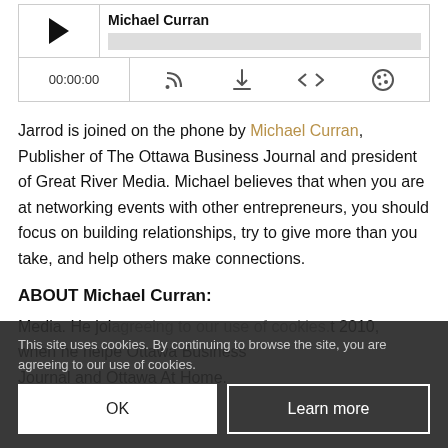[Figure (other): Audio podcast player widget with play button, track title 'Michael Curran', progress bar, timestamp 00:00:00, and control icons (RSS, download, embed, cookie/settings)]
Jarrod is joined on the phone by Michael Curran, Publisher of The Ottawa Business Journal and president of Great River Media. Michael believes that when you are at networking events with other entrepreneurs, you should focus on building relationships, try to give more than you take, and help others make connections.
ABOUT Michael Curran:
Media. He joi... at 2010, when he help...e Ottawa Business Journal and O...Ottawa At Home.
This site uses cookies. By continuing to browse the site, you are agreeing to our use of cookies.